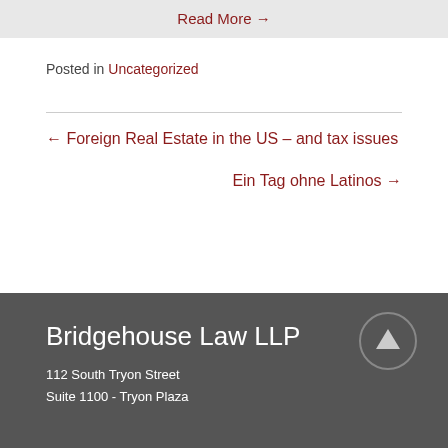Read More →
Posted in Uncategorized
← Foreign Real Estate in the US – and tax issues
Ein Tag ohne Latinos →
Bridgehouse Law LLP
112 South Tryon Street
Suite 1100 - Tryon Plaza